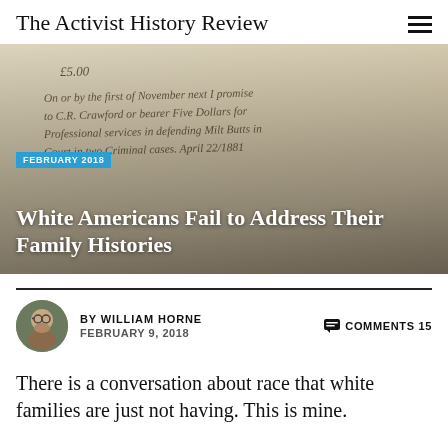The Activist History Review
[Figure (photo): Close-up of a handwritten historical document dated April 22, 1881, referencing C.R. Crawford and professional services defending in two criminal cases, with the amount of Five Dollars.]
FEBRUARY 2018
White Americans Fail to Address Their Family Histories
BY WILLIAM HORNE  FEBRUARY 9, 2018  COMMENTS 15
There is a conversation about race that white families are just not having. This is mine.